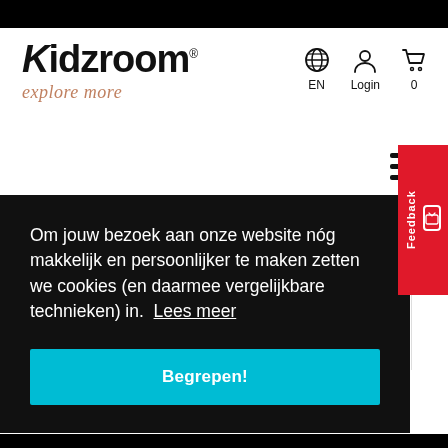[Figure (logo): Kidzroom logo with 'explore more' tagline]
EN
Login
0
[Figure (photo): Product image with grey/blue fabric]
Om jouw bezoek aan onze website nóg makkelijk en persoonlijker te maken zetten we cookies (en daarmee vergelijkbare technieken) in.  Lees meer
Begrepen!
Feedback